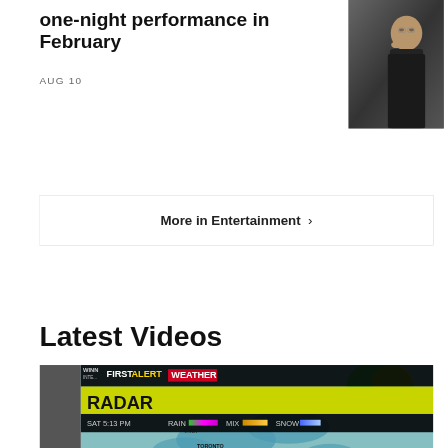one-night performance in February
AUG 10
[Figure (photo): Thumbnail photo of a person, appears to be an older Asian man in dark clothing]
More in Entertainment ›
Latest Videos
[Figure (screenshot): Weather radar screenshot showing WINN First Alert Weather Radar. SAT 5:13 PM. Rain, Mix, Snow legend. Map showing Great Lakes region with cities: Minneapolis, Green Bay, Chicago, Toronto, Burlington, Boston, Cleveland, New York. Yellow bar with RADAR text. Weather presenter visible in lower right.]